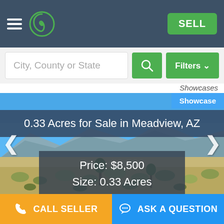Navigation bar with hamburger menu, logo, and SELL button
City, County or State
Filters
Showcases
0.33 Acres for Sale in Meadview, AZ
[Figure (photo): Desert landscape with scrub brush, mountains in background under clear blue sky. Meadview, AZ property.]
Showcase
Price: $8,500
Size: 0.33 Acres
CALL SELLER   ASK A QUESTION